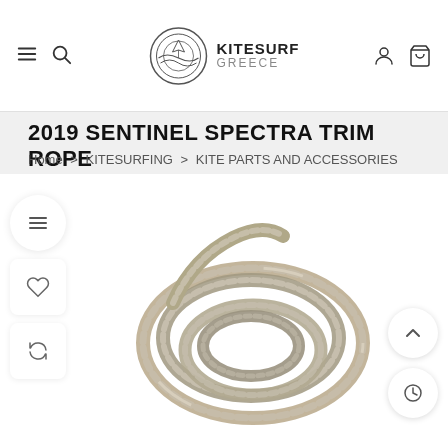Kitesurf Greece — site header with navigation, logo, user and cart icons
2019 SENTINEL SPECTRA TRIM ROPE
Home > KITESURFING > KITE PARTS AND ACCESSORIES
[Figure (photo): Coiled spectra trim rope in grey/tan braided pattern, shown coiled on white background]